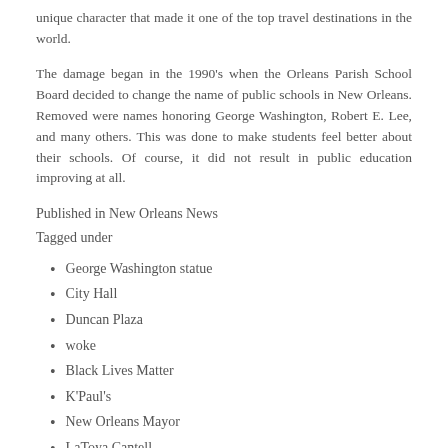unique character that made it one of the top travel destinations in the world.
The damage began in the 1990’s when the Orleans Parish School Board decided to change the name of public schools in New Orleans. Removed were names honoring George Washington, Robert E. Lee, and many others. This was done to make students feel better about their schools. Of course, it did not result in public education improving at all.
Published in New Orleans News
Tagged under
George Washington statue
City Hall
Duncan Plaza
woke
Black Lives Matter
K'Paul's
New Orleans Mayor
LaToya Cantell